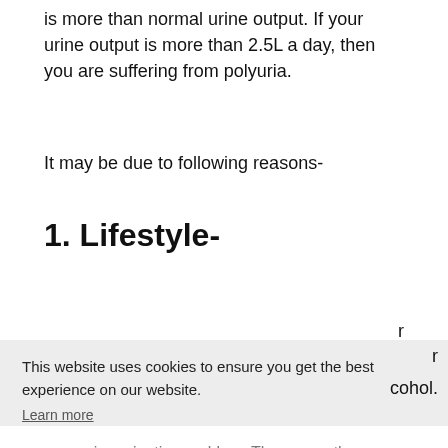is more than normal urine output. If your urine output is more than 2.5L a day, then you are suffering from polyuria.
It may be due to following reasons-
1. Lifestyle-
[partially visible] ...r ...cohol.
This website uses cookies to ensure you get the best experience on our website. Learn more
Decline  Allow cookies
excessive urination problem. There are other